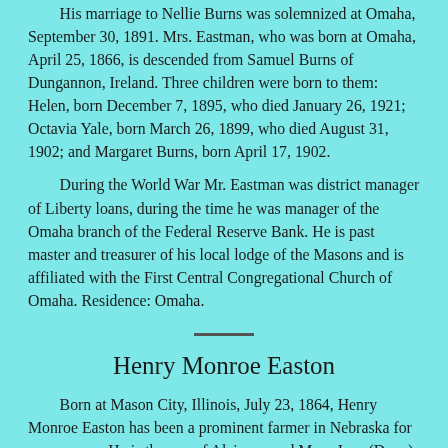His marriage to Nellie Burns was solemnized at Omaha, September 30, 1891. Mrs. Eastman, who was born at Omaha, April 25, 1866, is descended from Samuel Burns of Dungannon, Ireland. Three children were born to them: Helen, born December 7, 1895, who died January 26, 1921; Octavia Yale, born March 26, 1899, who died August 31, 1902; and Margaret Burns, born April 17, 1902.
During the World War Mr. Eastman was district manager of Liberty loans, during the time he was manager of the Omaha branch of the Federal Reserve Bank. He is past master and treasurer of his local lodge of the Masons and is affiliated with the First Central Congregational Church of Omaha. Residence: Omaha.
Henry Monroe Easton
Born at Mason City, Illinois, July 23, 1864, Henry Monroe Easton has been a prominent farmer in Nebraska for many years. He is the son of Alcinous and Mary Jane (Doan) Easton, both natives of Ohio. Alcinous Easton was born at Warren, Ohio, July 25, 1837, of early New England ancestry. He engaged in farming near Cambridge, Nebraska, for many years prior to his death there on January 7, 1907.